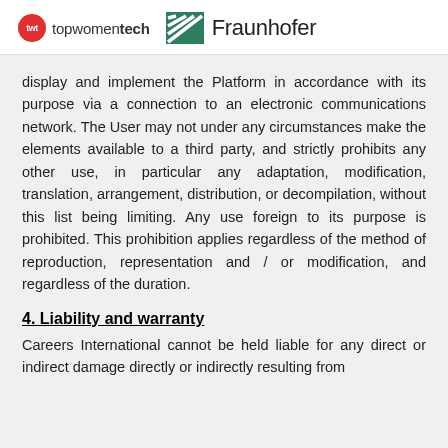twt topwomentech | Fraunhofer
display and implement the Platform in accordance with its purpose via a connection to an electronic communications network. The User may not under any circumstances make the elements available to a third party, and strictly prohibits any other use, in particular any adaptation, modification, translation, arrangement, distribution, or decompilation, without this list being limiting. Any use foreign to its purpose is prohibited. This prohibition applies regardless of the method of reproduction, representation and / or modification, and regardless of the duration.
4. Liability and warranty
Careers International cannot be held liable for any direct or indirect damage directly or indirectly resulting from